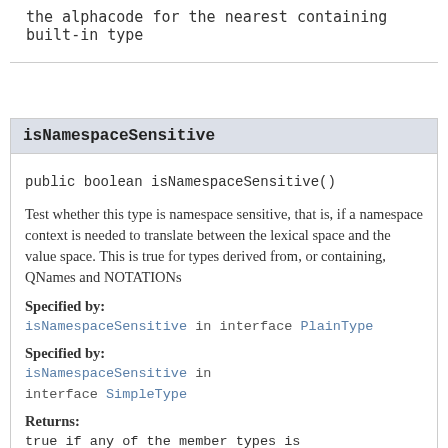the alphacode for the nearest containing built-in type
isNamespaceSensitive
Test whether this type is namespace sensitive, that is, if a namespace context is needed to translate between the lexical space and the value space. This is true for types derived from, or containing, QNames and NOTATIONs
Specified by:
isNamespaceSensitive in interface PlainType
Specified by:
isNamespaceSensitive in interface SimpleType
Returns:
true if any of the member types is namespace-sensitive, or if namespace